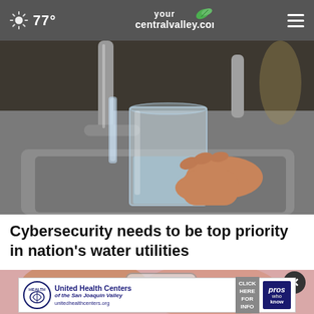77° | yourcentralvalley.com
[Figure (photo): A hand holding a clear glass being filled with water from a kitchen faucet over a stainless steel sink]
Cybersecurity needs to be top priority in nation's water utilities
[Figure (photo): Partial view of a second article with pink background and a phone, partially obscured by an advertisement overlay]
United Health Centers of the San Joaquin Valley | unitedhealthcenters.org | CLICK HERE FOR INFO